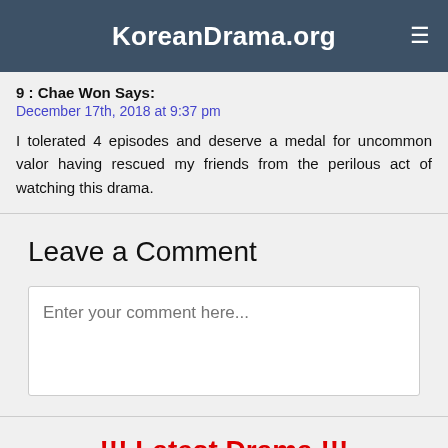KoreanDrama.org
9 : Chae Won Says:
December 17th, 2018 at 9:37 pm

I tolerated 4 episodes and deserve a medal for uncommon valor having rescued my friends from the perilous act of watching this drama.
Leave a Comment
Enter your comment here...
!!! Latest Drama !!!